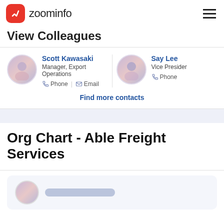zoominfo
View Colleagues
Scott Kawasaki – Manager, Export Operations – Phone | Email
Say Lee – Vice President – Phone
Find more contacts
Org Chart - Able Freight Services